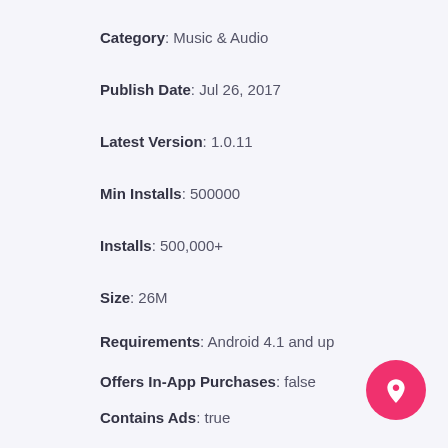Category: Music & Audio
Publish Date: Jul 26, 2017
Latest Version: 1.0.11
Min Installs: 500000
Installs: 500,000+
Size: 26M
Requirements: Android 4.1 and up
Offers In-App Purchases: false
Contains Ads: true
Price: Free
Report: Flag as inappropriate